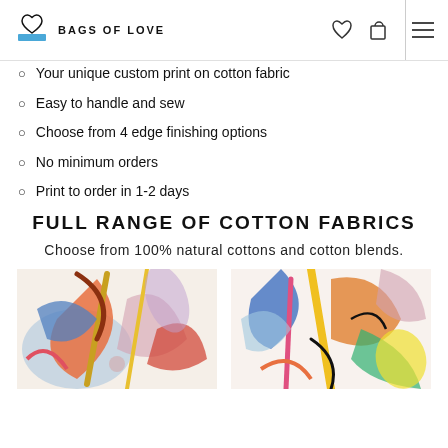BAGS OF LOVE
Your unique custom print on cotton fabric
Easy to handle and sew
Choose from 4 edge finishing options
No minimum orders
Print to order in 1-2 days
FULL RANGE OF COTTON FABRICS
Choose from 100% natural cottons and cotton blends.
[Figure (photo): Two close-up photos of printed cotton fabric with colorful abstract patterns]
[Figure (photo): Second close-up photo of printed cotton fabric with colorful abstract patterns]